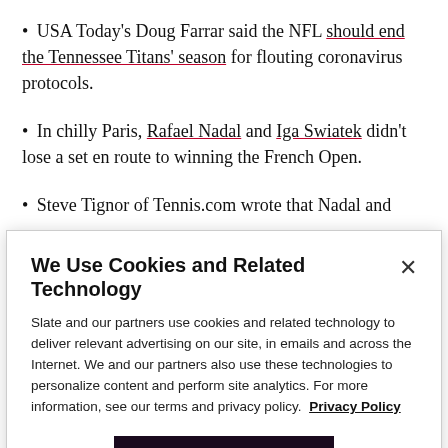• USA Today's Doug Farrar said the NFL should end the Tennessee Titans' season for flouting coronavirus protocols.
• In chilly Paris, Rafael Nadal and Iga Swiatek didn't lose a set en route to winning the French Open.
• Steve Tignor of Tennis.com wrote that Nadal and
We Use Cookies and Related Technology

Slate and our partners use cookies and related technology to deliver relevant advertising on our site, in emails and across the Internet. We and our partners also use these technologies to personalize content and perform site analytics. For more information, see our terms and privacy policy. Privacy Policy

OK